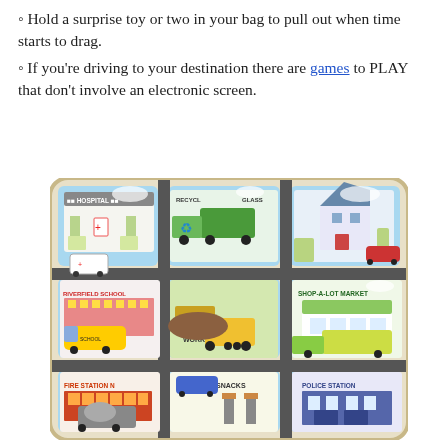Hold a surprise toy or two in your bag to pull out when time starts to drag.
If you're driving to your destination there are games to PLAY that don't involve an electronic screen.
[Figure (photo): A colorful children's wooden puzzle/toy board depicting a town scene with vehicles and buildings: Hospital, Riverfield School, Fire Station, Recycle Glass truck, Work Site, Snacks station, Shop-A-Lot Market, Police Station.]